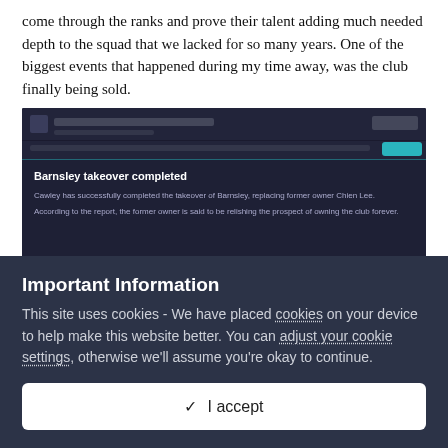come through the ranks and prove their talent adding much needed depth to the squad that we lacked for so many years. One of the biggest events that happened during my time away, was the club finally being sold.
[Figure (screenshot): A dark-themed website screenshot showing a news article headline 'Barnsley takeover completed' with subtext about Cawley completing the takeover of Barnsley, replacing former owner Chien Lee.]
An image that would please Barnsley supporters. Our new owners aren't affluent by any means and truth be told they are pretty similar to the previous regime but it was a nice change. I didn't like there constantly being rumors of a possible takeover while Chien Lee was the owner. Funny enough though, it appears Cawley bought us to
Important Information
This site uses cookies - We have placed cookies on your device to help make this website better. You can adjust your cookie settings, otherwise we'll assume you're okay to continue.
✓  I accept